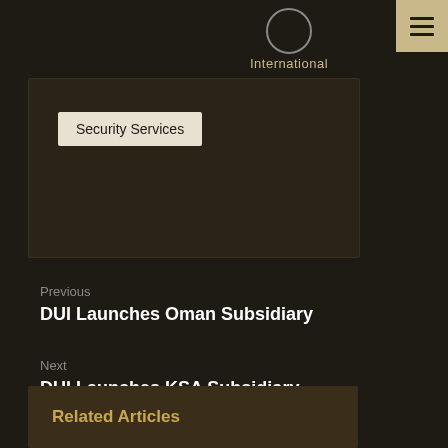International
Howard Randolph Sapkins
Security Services
Previous
DUI Launches Oman Subsidiary
Next
DUI Launches KSA Subsidiary
Related Articles